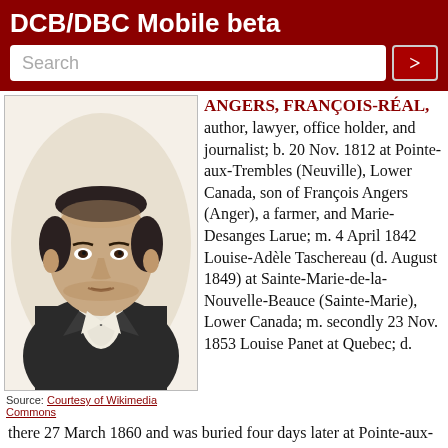DCB/DBC Mobile beta
[Figure (photo): Portrait sketch of François-Réal Angers, a man in early 19th century attire with a white cravat and dark coat]
Source: Courtesy of Wikimedia Commons
ANGERS, FRANÇOIS-RÉAL
author, lawyer, office holder, and journalist; b. 20 Nov. 1812 at Pointe-aux-Trembles (Neuville), Lower Canada, son of François Angers (Anger), a farmer, and Marie-Desanges Larue; m. 4 April 1842 Louise-Adèle Taschereau (d. August 1849) at Sainte-Marie-de-la-Nouvelle-Beauce (Sainte-Marie), Lower Canada; m. secondly 23 Nov. 1853 Louise Panet at Quebec; d. there 27 March 1860 and was buried four days later at Pointe-aux-Trembles.